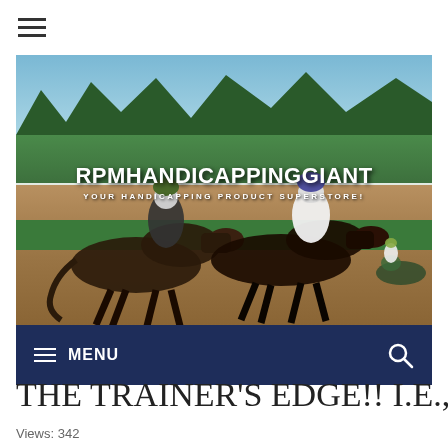[Figure (photo): Horse racing photo banner with two jockeys racing on dark horses on a dirt track, green trees in background. Text overlay reads 'RPMHANDICAPPINGGIANT' and 'YOUR HANDICAPPING PRODUCT SUPERSTORE!']
MENU
THE TRAINER'S EDGE!! I.E., TRA
Views: 342